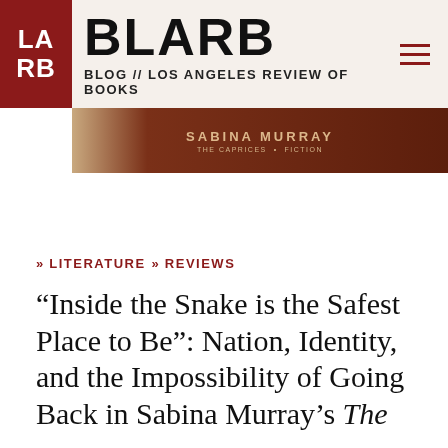LARB | BLARB BLOG // LOS ANGELES REVIEW OF BOOKS
[Figure (photo): Partial book cover with brown tones showing author name Sabina Murray]
>> LITERATURE  >> REVIEWS
“Inside the Snake is the Safest Place to Be”: Nation, Identity, and the Impossibility of Going Back in Sabina Murray’s The